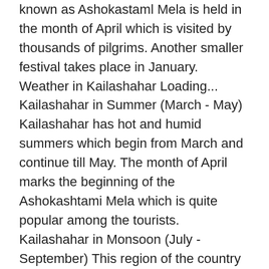known as Ashokastaml Mela is held in the month of April which is visited by thousands of pilgrims. Another smaller festival takes place in January. Weather in Kailashahar Loading... Kailashahar in Summer (March - May) Kailashahar has hot and humid summers which begin from March and continue till May. The month of April marks the beginning of the Ashokashtami Mela which is quite popular among the tourists. Kailashahar in Monsoon (July - September) This region of the country receives heavy rainfall during the months of July to September. Thus, one should not plan a trip during monsoons to Kailashahar. Kailashahar in Winter (November - February) Winters here are cold. The season starts to set in from November and continues till mid of February. The end of monsoon and the onset of the winter months is an incredible period where when should go to Kailshahar. It is during the month of October and November where the town's biggest festivals Durga Puja and Kaali Puja are celebrated with great joy and enthusiasm. Also, the weather during December and